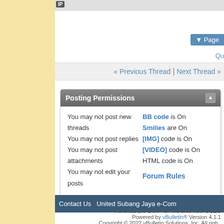IP
▼ Page
Qu
« Previous Thread | Next Thread »
Posting Permissions
You may not post new threads
You may not post replies
You may not post attachments
You may not edit your posts
BB code is On
Smilies are On
[IMG] code is On
[VIDEO] code is On
HTML code is On
Forum Rules
Contact Us   United Subang Jaya e-Com
All times are GMT +8. The time now is 01:3
Powered by vBulletin® Version 4.1.1
Copyright © 2022 vBulletin Solutions, Inc. All righ